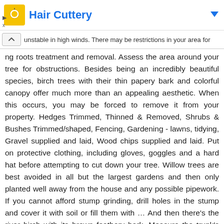[Figure (other): Advertisement bar for Hair Cuttery with yellow icon, blue title text, and blue dropdown arrow]
unstable in high winds. There may be restrictions in your area for ing roots treatment and removal. Assess the area around your tree for obstructions. Besides being an incredibly beautiful species, birch trees with their thin papery bark and colorful canopy offer much more than an appealing aesthetic. When this occurs, you may be forced to remove it from your property. Hedges Trimmed, Thinned & Removed, Shrubs & Bushes Trimmed/shaped, Fencing, Gardening - lawns, tidying, Gravel supplied and laid, Wood chips supplied and laid. Put on protective clothing, including gloves, goggles and a hard hat before attempting to cut down your tree. Willow trees are best avoided in all but the largest gardens and then only planted well away from the house and any possible pipework. If you cannot afford stump grinding, drill holes in the stump and cover it with soil or fill them with … And then there's the river birch with its brown feathery bark. Measure the trunk's diameter at chest height in inches. Her work has appeared in national magazines and newspapers including "Ferrets," "CatFancy," "Lexington Herald Leader" and "The Tulsa World." The roots of the silver birch spread wide but close to the soil surface. Monitor the Tree after Cutting its Roots It's critical to carefully monitor a tree in the days and weeks after cutting one or more of its roots. Most tree removal services use these size ranges as guidelines for charging but also include other factors such as location, power lines and